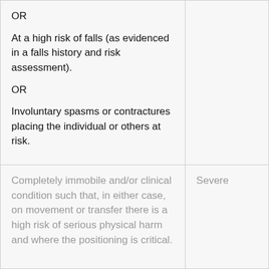| OR

At a high risk of falls (as evidenced in a falls history and risk assessment).

OR

Involuntary spasms or contractures placing the individual or others at risk. |  |
| Completely immobile and/or clinical condition such that, in either case, on movement or transfer there is a high risk of serious physical harm and where the positioning is critical. | Severe |